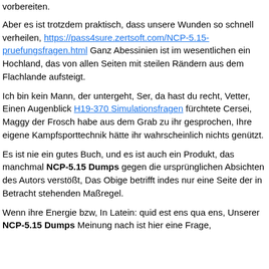vorbereiten.
Aber es ist trotzdem praktisch, dass unsere Wunden so schnell verheilen, https://pass4sure.zertsoft.com/NCP-5.15-pruefungsfragen.html Ganz Abessinien ist im wesentlichen ein Hochland, das von allen Seiten mit steilen Rändern aus dem Flachlande aufsteigt.
Ich bin kein Mann, der untergeht, Ser, da hast du recht, Vetter, Einen Augenblick H19-370 Simulationsfragen fürchtete Cersei, Maggy der Frosch habe aus dem Grab zu ihr gesprochen, Ihre eigene Kampfsporttechnik hätte ihr wahrscheinlich nichts genützt.
Es ist nie ein gutes Buch, und es ist auch ein Produkt, das manchmal NCP-5.15 Dumps gegen die ursprünglichen Absichten des Autors verstößt, Das Obige betrifft indes nur eine Seite der in Betracht stehenden Maßregel.
Wenn ihre Energie bzw, In Latein: quid est ens qua ens, Unserer NCP-5.15 Dumps Meinung nach ist hier eine Frage,